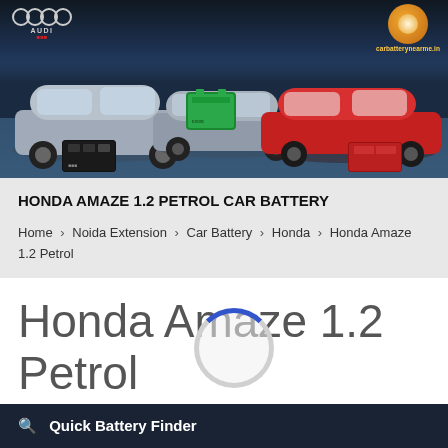[Figure (photo): Website banner showing three cars (silver/gray sedan on left, gray sedan in center, red sedan on right) with car batteries displayed in front of them against a city skyline background. Audi logo top left, site logo top right.]
HONDA AMAZE 1.2 PETROL CAR BATTERY
Home > Noida Extension > Car Battery > Honda > Honda Amaze 1.2 Petrol
Honda Amaze 1.2 Petrol Car Battery in Noida
Quick Battery Finder